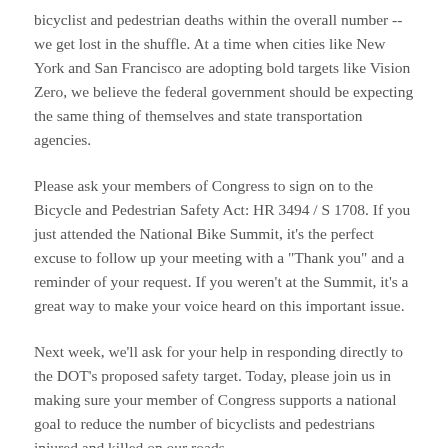bicyclist and pedestrian deaths within the overall number -- we get lost in the shuffle. At a time when cities like New York and San Francisco are adopting bold targets like Vision Zero, we believe the federal government should be expecting the same thing of themselves and state transportation agencies.
Please ask your members of Congress to sign on to the Bicycle and Pedestrian Safety Act: HR 3494 / S 1708. If you just attended the National Bike Summit, it's the perfect excuse to follow up your meeting with a "Thank you" and a reminder of your request. If you weren't at the Summit, it's a great way to make your voice heard on this important issue.
Next week, we'll ask for your help in responding directly to the DOT's proposed safety target. Today, please join us in making sure your member of Congress supports a national goal to reduce the number of bicyclists and pedestrians injured and killed on our roads.